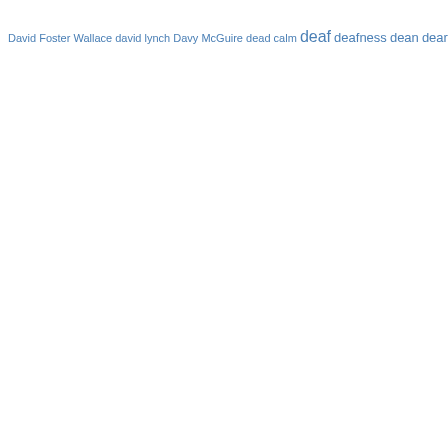[Figure (infographic): Word cloud with terms starting with 'd', rendered in varying font sizes in blue, indicating frequency/importance. Words include: David Foster Wallace, david lynch, Davy McGuire, dead calm, deaf, deafness, dean, dear abby, death, debate, debt, decartes, decca aitkenhead, deceit, decency, decision fatigue, decisions, decoding, dedication, defeat, defensive, defensiveness, definitions, demands, dementia, denali, denial, dependency, depressed, depressing people, depression, depth, dergin tokmak, descartes, desert, deserve, design, designers, desire, desires, destination, destiny, destroy life, development, devices, diagnosis, diamonds, Dick Hoyt, diet, diets, difference, differences, different, difficult, difficulties, difficult people, difficulty, digital life, dignity, dinner, diplomacy, directing, direction, director, director of photography, dirty mind, dirty thoughts, disabilities, disability, disabled, disagreement, disagreements, disappoinment, disappointment, disaster, discconnected, disco, disconnection, discovery, discussion, dish, dishes, disrespected, dissatisfaction, distortion, distractions, distress, Dita Pepe, diving, division, divorce, diwali, doctor, doctors, dog, dogs, dog walk, doing, doing]